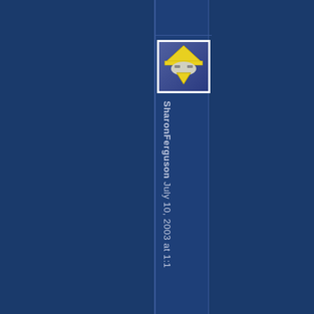[Figure (illustration): Avatar icon: a cartoon face with yellow triangular hat and downward-pointing yellow triangle beak/nose, on a purple-blue gradient background, inside a white-bordered square]
SharonFerguson July 10, 2003 at 1:1...